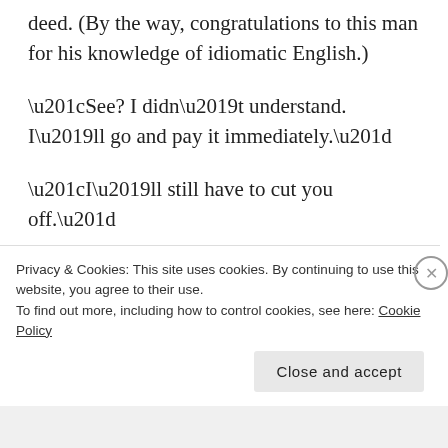deed. (By the way, congratulations to this man for his knowledge of idiomatic English.)
“See? I didn’t understand. I’ll go and pay it immediately.”
“I’ll still have to cut you off.”
“Can’t you just tell your boss I didn’t
Privacy & Cookies: This site uses cookies. By continuing to use this website, you agree to their use.
To find out more, including how to control cookies, see here: Cookie Policy
Close and accept